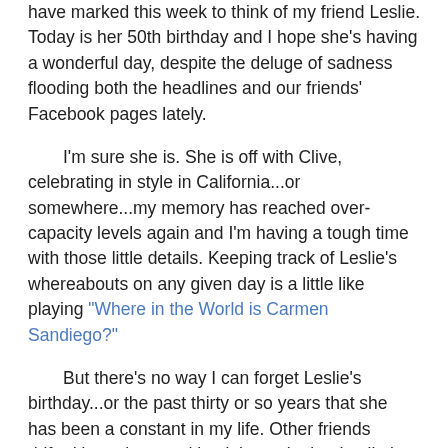have marked this week to think of my friend Leslie. Today is her 50th birthday and I hope she's having a wonderful day, despite the deluge of sadness flooding both the headlines and our friends' Facebook pages lately.
I'm sure she is. She is off with Clive, celebrating in style in California...or somewhere...my memory has reached over-capacity levels again and I'm having a tough time with those little details. Keeping track of Leslie's whereabouts on any given day is a little like playing "Where in the World is Carmen Sandiego?"
But there's no way I can forget Leslie's birthday...or the past thirty or so years that she has been a constant in my life. Other friends drifted in and out and back in again, but Leslie is one who has stayed within talking distance, despite leading very different lives. On those long ago nights when I was reading to my babies or making rounds through the chemical plant, she was zipping around downtown Houston on inline skates. She is a career woman...intense, organized, knowledgable, always on the move. She travels constantly. She volunteers. She's crazy about professional team sports, has a great collection of autographed memorabilia, and makes my